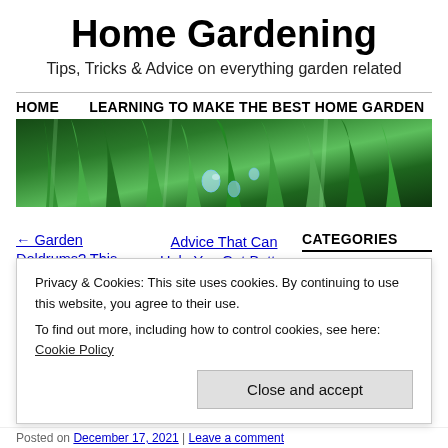Home Gardening
Tips, Tricks & Advice on everything garden related
HOME   LEARNING TO MAKE THE BEST HOME GARDEN
[Figure (photo): Close-up photo of green grass blades with water droplets]
← Garden Doldrums? This Advice Will Perk It Right Up!
Advice That Can Help You Get Better At Organic Gardening →
CATEGORIES
Select Category
Privacy & Cookies: This site uses cookies. By continuing to use this website, you agree to their use.
To find out more, including how to control cookies, see here: Cookie Policy
Close and accept
Posted on December 17, 2021 | Leave a comment
Get Polling